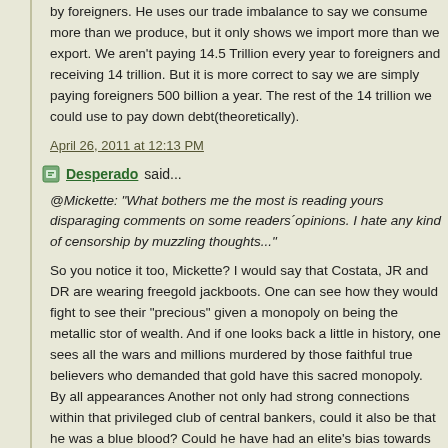by foreigners. He uses our trade imbalance to say we consume more than we produce, but it only shows we import more than we export. We aren't paying 14.5 Trillion every year to foreigners and receiving 14 trillion. But it is more correct to say we are simply paying foreigners 500 billion a year. The rest of the 14 trillion we could use to pay down debt(theoretically).
April 26, 2011 at 12:13 PM
Desperado said...
@Mickette: "What bothers me the most is reading yours disparaging comments on some readers´opinions. I hate any kind of censorship by muzzling thoughts..."
So you notice it too, Mickette? I would say that Costata, JR and DR are wearing freegold jackboots. One can see how they would fight to see their "precious" given a monopoly on being the metallic store of wealth. And if one looks back a little in history, one sees all the wars and millions murdered by those faithful true believers who demanded that gold have this sacred monopoly. By all appearances Another not only had strong connections within that privileged club of central bankers, could it also be that he was a blue blood? Could he have had an elite's bias towards silver going back generations?